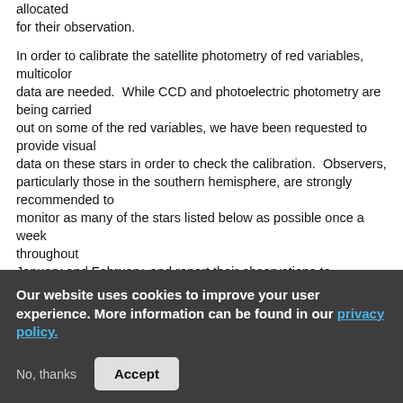allocated for their observation. In order to calibrate the satellite photometry of red variables, multicolor data are needed.  While CCD and photoelectric photometry are being carried out on some of the red variables, we have been requested to provide visual data on these stars in order to check the calibration.  Observers, particularly those in the southern hemisphere, are strongly recommended to monitor as many of the stars listed below as possible once a week throughout January and February, and report their observations to Headquarters as early as possible.  If you need finder charts for any of the stars, please
Our website uses cookies to improve your user experience. More information can be found in our privacy policy.
No, thanks
Accept